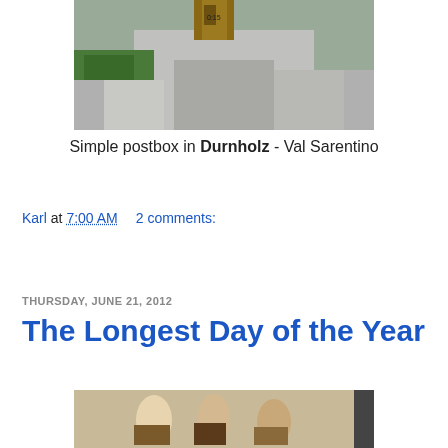[Figure (photo): Photo of a simple postbox mounted on rocks in Durnholz - Val Sarentino, showing a wooden post box embedded between grey stones with greenery visible]
Simple postbox in Durnholz - Val Sarentino
Karl at 7:00 AM    2 comments:
Share
THURSDAY, JUNE 21, 2012
The Longest Day of the Year
[Figure (photo): Partial photo showing what appears to be a painted or illustrated scene with figures in traditional dress]